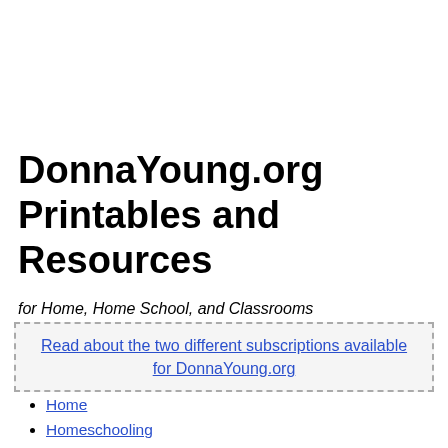DonnaYoung.org Printables and Resources
for Home, Home School, and Classrooms
Read about the two different subscriptions available for DonnaYoung.org
Home
Homeschooling
Homeschool Planner
Household
Calendars
Art